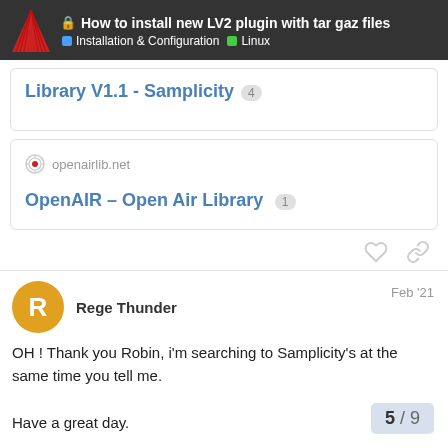How to install new LV2 plugin with tar gaz files | Installation & Configuration | Linux
Library V1.1 - Samplicity 4
[Figure (screenshot): Link card for openairlib.net showing OpenAIR – Open Air Library with 1 click]
Rege Thunder Feb '21
OH ! Thank you Robin, i'm searching to Samplicity's at the same time you tell me.
Have a great day.
5 / 9